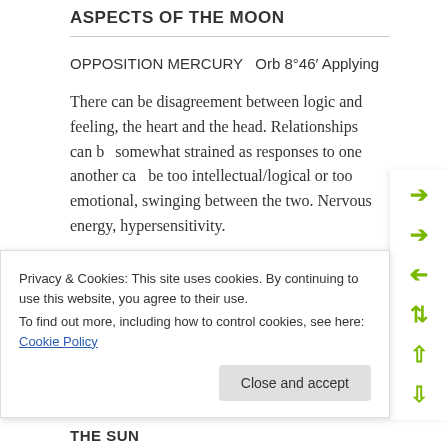ASPECTS OF THE MOON
OPPOSITION MERCURY  Orb 8°46′ Applying
There can be disagreement between logic and feeling, the heart and the head. Relationships can be somewhat strained as responses to one another can be too intellectual/logical or too emotional, swinging between the two. Nervous energy, hypersensitivity.
SQUARE JUPITER  Orb 0°36′ Separating
Privacy & Cookies: This site uses cookies. By continuing to use this website, you agree to their use.
To find out more, including how to control cookies, see here: Cookie Policy
THE SUN